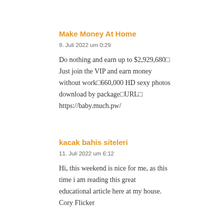Make Money At Home
9. Juli 2022 um 0:29
Do nothing and earn up to $2,929,680□ Just join the VIP and earn money without work□660,000 HD sexy photos download by package□URL□ https://baby.much.pw/
kacak bahis siteleri
11. Juli 2022 um 6:12
Hi, this weekend is nice for me, as this time i am reading this great educational article here at my house. Cory Flicker